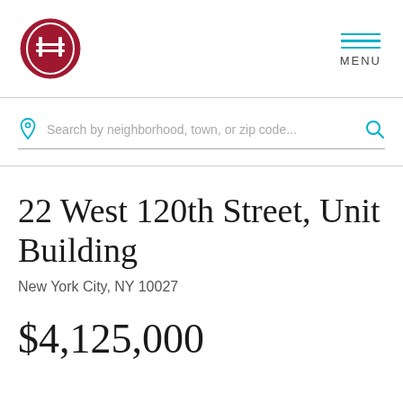[Figure (logo): Red oval logo with stylized building/letter icon in white lines]
MENU
Search by neighborhood, town, or zip code...
22 West 120th Street, Unit Building
New York City, NY 10027
$4,125,000